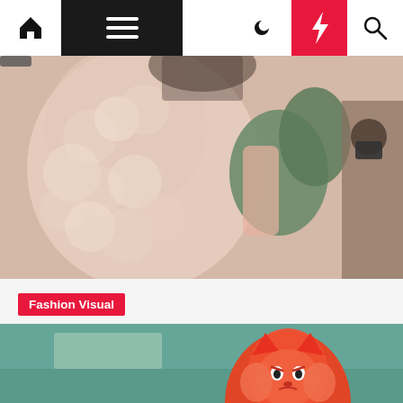Navigation bar with home, menu, moon, lightning, and search icons
[Figure (photo): Close-up photo of a person wearing a fluffy cream-colored coat and olive green mittens/gloves, with photographers visible in background]
Fashion Visual
Bella Hadid Almost Missed Paris Fashion Week Show; Here's Why
Ira T. Martin  2 months ago
[Figure (photo): Bottom portion of an image showing an animated fox-like character with orange/red fur, appears to be from an animated film, on a teal/green background]